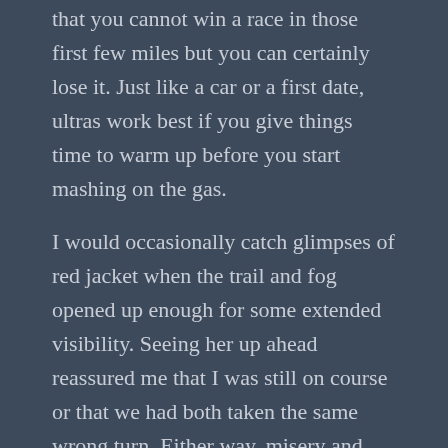that you cannot win a race in those first few miles but you can certainly lose it. Just like a car or a first date, ultras work best if you give things time to warm up before you start mashing on the gas.
I would occasionally catch glimpses of red jacket when the trail and fog opened up enough for some extended visibility. Seeing her up ahead reassured me that I was still on course or that we had both taken the same wrong turn. Either way, misery and misdirection love and find solace in company.
Around the 6 mile mark, I began the first of three 1000’+ descents that I would make over the course of the day. Many runners relish downhills as they view them as free speed. I certainly appreciate their point of